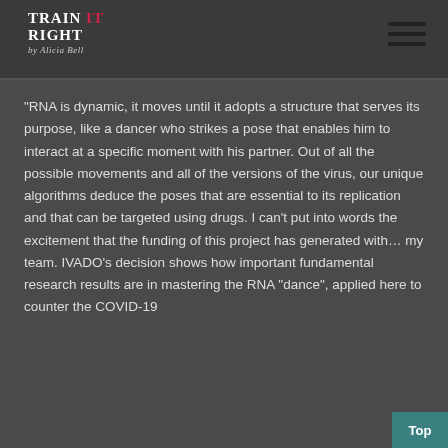Train It Right by Alicia Bell
"RNA is dynamic, it moves until it adopts a structure that serves its purpose, like a dancer who strikes a pose that enables him to interact at a specific moment with his partner. Out of all the possible movements and all of the versions of the virus, our unique algorithms deduce the poses that are essential to its replication and that can be targeted using drugs. I can't put into words the excitement that the funding of this project has generated with... my team. IVADO's decision shows how important fundamental research results are in mastering the RNA "dance", applied here to counter the COVID-19